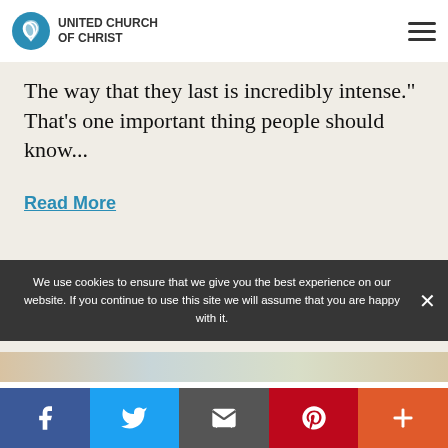United Church of Christ
The way that they last is incredibly intense." That's one important thing people should know...
Read More
[Figure (photo): Blurred colorful image strip at the bottom of the content area]
We use cookies to ensure that we give you the best experience on our website. If you continue to use this site we will assume that you are happy with it.
Facebook | Twitter | Email | Pinterest | More